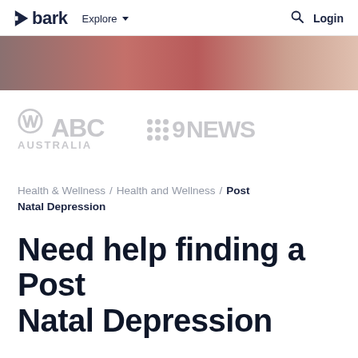bark   Explore   Login
[Figure (photo): Decorative header image strip showing fabric/clothing in warm red and pink tones]
[Figure (logo): ABC Australia logo in light grey]
[Figure (logo): 9NEWS logo in light grey]
Health & Wellness / Health and Wellness / Post Natal Depression
Need help finding a Post Natal Depression